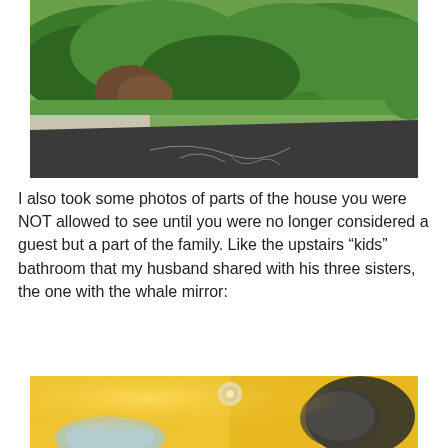[Figure (photo): Outdoor photo showing trimmed green hedges/shrubs and a dark asphalt driveway or path with light-colored cracks/stains visible]
I also took some photos of parts of the house you were NOT allowed to see until you were no longer considered a guest but a part of the family. Like the upstairs “kids” bathroom that my husband shared with his three sisters, the one with the whale mirror:
[Figure (photo): Bottom portion of a bathroom with yellow walls and a round whale-shaped mirror partially visible]